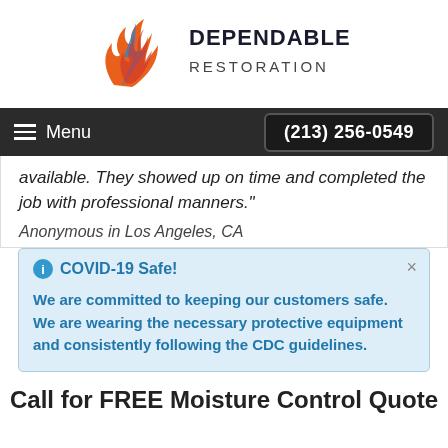[Figure (logo): Dependable Restoration logo with flame and house icon, company name in bold dark text]
Menu | (213) 256-0549
available. They showed up on time and completed the job with professional manners." Anonymous in Los Angeles, CA
COVID-19 Safe! We are committed to keeping our customers safe. We are wearing the necessary protective equipment and consistently following the CDC guidelines.
Call for FREE Moisture Control Quote